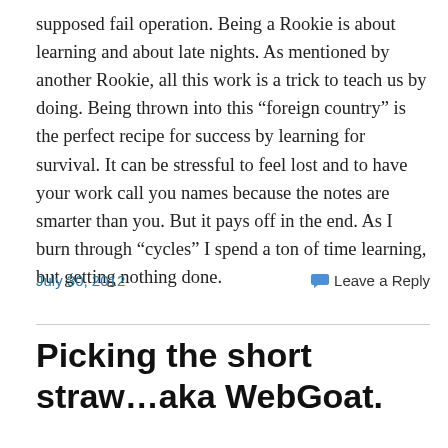supposed fail operation. Being a Rookie is about learning and about late nights. As mentioned by another Rookie, all this work is a trick to teach us by doing. Being thrown into this “foreign country” is the perfect recipe for success by learning for survival. It can be stressful to feel lost and to have your work call you names because the notes are smarter than you. But it pays off in the end. As I burn through “cycles” I spend a ton of time learning, but getting nothing done.
July 30, 2012
Leave a Reply
Picking the short straw…aka WebGoat.